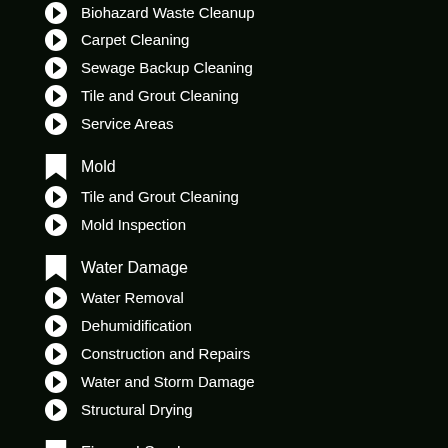Biohazard Waste Cleanup
Carpet Cleaning
Sewage Backup Cleaning
Tile and Grout Cleaning
Service Areas
Mold
Tile and Grout Cleaning
Mold Inspection
Water Damage
Water Removal
Dehumidification
Construction and Repairs
Water and Storm Damage
Structural Drying
Fire and Smoke
Contents Cleaning
Soot and Smoke Damage